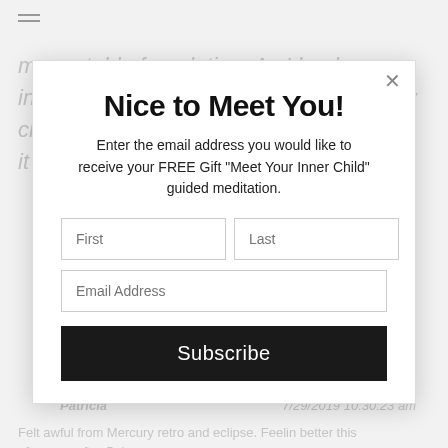[Figure (screenshot): Background webpage content showing italic text about stable foundation and inner child, social share buttons (Share, Tweet), name Patricia, date 7/29/2019 10:30:23 am, and text about Mercury retro and eclipse]
Nice to Meet You!
Enter the email address you would like to receive your FREE Gift  "Meet Your Inner Child" guided meditation.
First
Last
Email Address
Subscribe